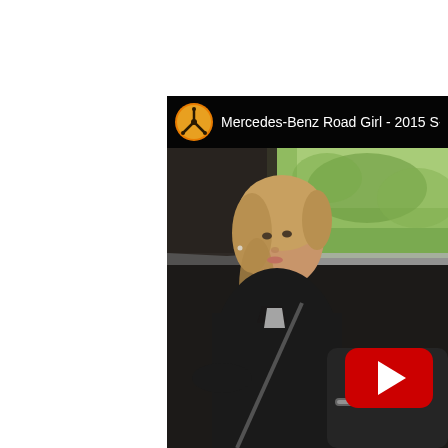[Figure (screenshot): YouTube video thumbnail showing a woman sitting in the driver seat of a Mercedes-Benz car interior. The video title reads 'Mercedes-Benz Road Girl - 2015 S-Class' with the Mercedes-Benz channel icon (orange three-pointed star logo). A red YouTube play button is visible in the lower right of the thumbnail. The background shows green trees through the car window.]